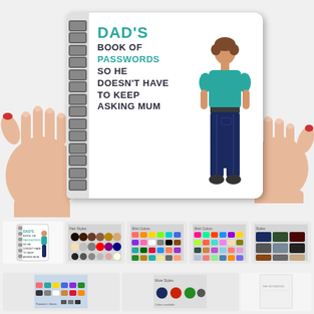[Figure (photo): Two hands holding a spiral-bound notebook. The notebook cover shows an illustrated man in a teal t-shirt and dark jeans seen from behind, alongside text reading: DAD'S BOOK OF PASSWORDS SO HE DOESN'T HAVE TO KEEP ASKING MUM. Below are thumbnail product variant images.]